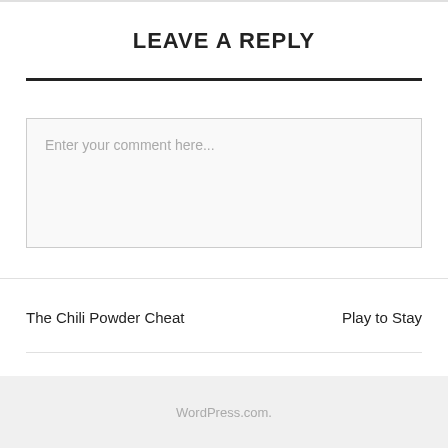LEAVE A REPLY
Enter your comment here...
The Chili Powder Cheat
Play to Stay
WordPress.com.